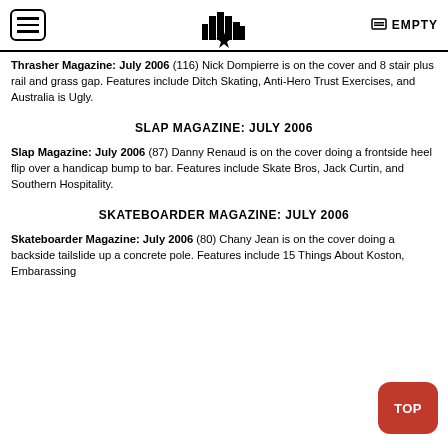EMPTY
Thrasher Magazine: July 2006 (116) Nick Dompierre is on the cover and 8 stair plus rail and grass gap. Features include Ditch Skating, Anti-Hero Trust Exercises, and Australia is Ugly.
SLAP MAGAZINE: JULY 2006
Slap Magazine: July 2006 (87) Danny Renaud is on the cover doing a frontside heel flip over a handicap bump to bar. Features include Skate Bros, Jack Curtin, and Southern Hospitality.
SKATEBOARDER MAGAZINE: JULY 2006
Skateboarder Magazine: July 2006 (80) Chany Jean is on the cover doing a backside tailslide up a concrete pole. Features include 15 Things About Koston, Embarassing